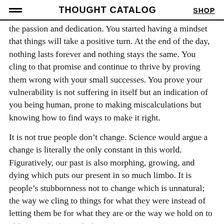THOUGHT CATALOG | SHOP
the passion and dedication. You started having a mindset that things will take a positive turn. At the end of the day, nothing lasts forever and nothing stays the same. You cling to that promise and continue to thrive by proving them wrong with your small successes. You prove your vulnerability is not suffering in itself but an indication of you being human, prone to making miscalculations but knowing how to find ways to make it right.
It is not true people don’t change. Science would argue a change is literally the only constant in this world. Figuratively, our past is also morphing, growing, and dying which puts our present in so much limbo. It is people’s stubbornness not to change which is unnatural; the way we cling to things for what they were instead of letting them be for what they are or the way we hold on to old memories instead of creating new ones.